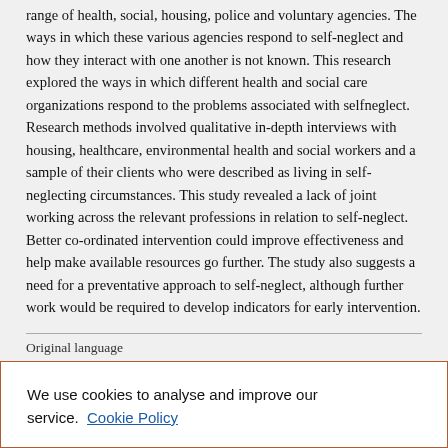range of health, social, housing, police and voluntary agencies. The ways in which these various agencies respond to self-neglect and how they interact with one another is not known. This research explored the ways in which different health and social care organizations respond to the problems associated with selfneglect. Research methods involved qualitative in-depth interviews with housing, healthcare, environmental health and social workers and a sample of their clients who were described as living in self-neglecting circumstances. This study revealed a lack of joint working across the relevant professions in relation to self-neglect. Better co-ordinated intervention could improve effectiveness and help make available resources go further. The study also suggests a need for a preventative approach to self-neglect, although further work would be required to develop indicators for early intervention.
Original language
We use cookies to analyse and improve our service. Cookie Policy